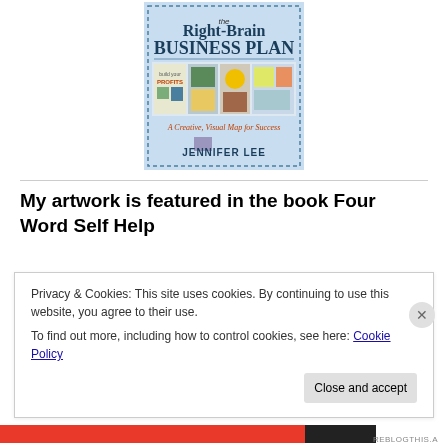[Figure (illustration): Book cover of 'The Right-Brain Business Plan: A Creative, Visual Map for Success' by Jennifer Lee, showing a decorative cover with text and imagery including profits panels and a sunflower.]
My artwork is featured in the book Four Word Self Help
Privacy & Cookies: This site uses cookies. By continuing to use this website, you agree to their use.
To find out more, including how to control cookies, see here: Cookie Policy